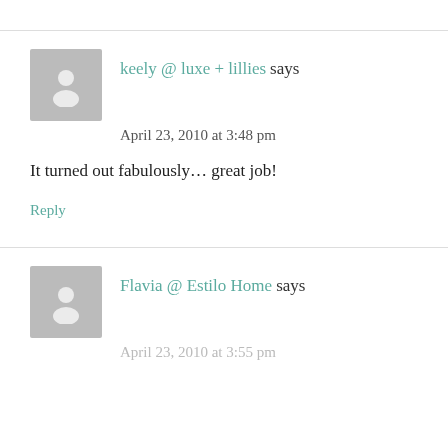keely @ luxe + lillies says
April 23, 2010 at 3:48 pm
It turned out fabulously... great job!
Reply
Flavia @ Estilo Home says
April 23, 2010 at 3:55 pm